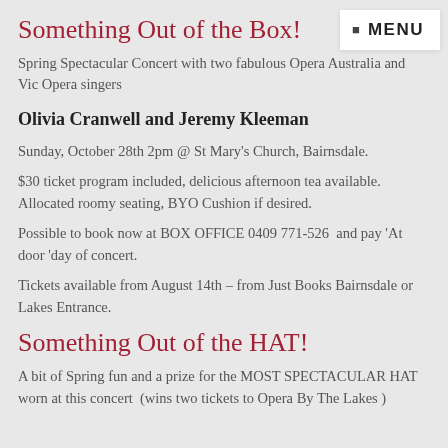Something Out of the Box!
Spring Spectacular Concert with two fabulous Opera Australia and Vic Opera singers
Olivia Cranwell and Jeremy Kleeman
Sunday, October 28th 2pm @ St Mary's Church, Bairnsdale.
$30 ticket program included, delicious afternoon tea available.  Allocated roomy seating, BYO Cushion if desired.
Possible to book now at BOX OFFICE 0409 771-526  and pay 'At door 'day of concert.
Tickets available from August 14th – from Just Books Bairnsdale or Lakes Entrance.
Something Out of the HAT!
A bit of Spring fun and a prize for the MOST SPECTACULAR HAT worn at this concert  (wins two tickets to Opera By The Lakes )